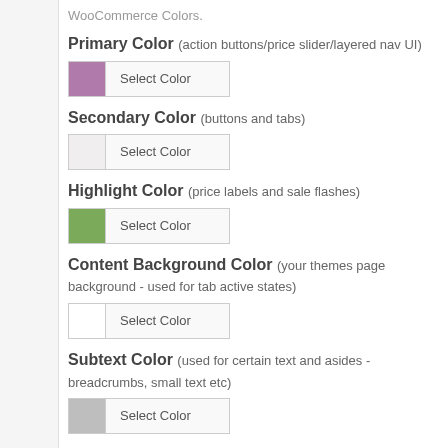WooCommerce Colors.
Primary Color (action buttons/price slider/layered nav UI)
[Figure (other): Color picker with purple swatch and 'Select Color' button]
Secondary Color (buttons and tabs)
[Figure (other): Color picker with light swatch and 'Select Color' button]
Highlight Color (price labels and sale flashes)
[Figure (other): Color picker with green swatch and 'Select Color' button]
Content Background Color (your themes page background - used for tab active states)
[Figure (other): Color picker with white swatch and 'Select Color' button]
Subtext Color (used for certain text and asides - breadcrumbs, small text etc)
[Figure (other): Color picker with gray swatch and 'Select Color' button (partially visible)]